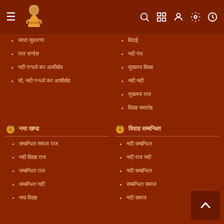Navigation bar with hamburger menu, logo, search, grid, user, settings, and clock icons
[Hindi text] सतत सुधारणा
[Hindi text] राज सन्देश
[Hindi text] विवाह
[Hindi text] नदी गन्धर्व कर आशीर्वाद
[Hindi text] सो, नदी गन्धर्व कर आशीर्वाद
[Hindi text] विदाई
[Hindi text] विवाह समारोह
[Hindi text] नदी गंध
[Hindi text] सुखमय विवाह
[Hindi text] नया खण्ड
[Hindi text] विवाह सम्बन्धित
[Hindi text] सम्बन्धित समाज राज
[Hindi text] नदी विवाह राज
[Hindi text] सम्बन्धित राज
[Hindi text] सम्बन्धित नदी
[Hindi text] नया विवाह
[Hindi text] नदी सम्बन्धित
[Hindi text] नदी राज नदी
[Hindi text] नदी सम्बन्धित
[Hindi text] सम्बन्धित समाज
[Hindi text] सम्बन्धित नदी राज
[Hindi text] नदी समाज